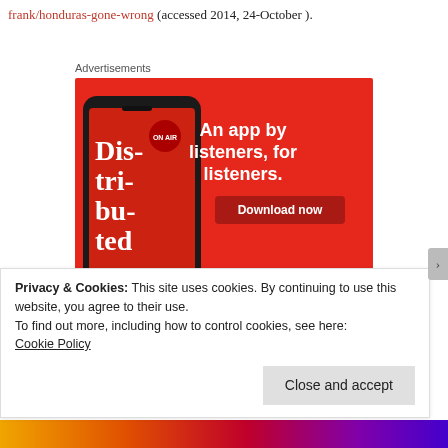frank/honduras-gone-wrong (accessed 2014, 24-October ).
Advertisements
[Figure (photo): Advertisement banner for a podcast app showing a smartphone displaying 'Distributed' podcast app with text 'An app by listeners, for listeners.' and a Download now button, on a red background.]
Privacy & Cookies: This site uses cookies. By continuing to use this website, you agree to their use.
To find out more, including how to control cookies, see here: Cookie Policy
Close and accept